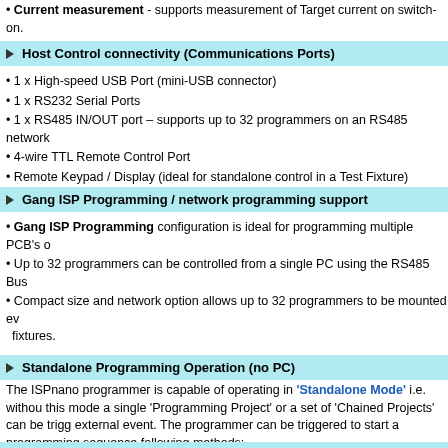Current measurement - supports measurement of Target current on switch-on.
Host Control connectivity (Communications Ports)
1 x High-speed USB Port (mini-USB connector)
1 x RS232 Serial Ports
1 x RS485 IN/OUT port – supports up to 32 programmers on an RS485 network
4-wire TTL Remote Control Port
Remote Keypad / Display (ideal for standalone control in a Test Fixture)
Gang ISP Programming / network programming support
Gang ISP Programming configuration is ideal for programming multiple PCB's o
Up to 32 programmers can be controlled from a single PC using the RS485 Bus
Compact size and network option allows up to 32 programmers to be mounted ev fixtures.
Standalone Programming Operation (no PC)
The ISPnano programmer is capable of operating in 'Standalone Mode' i.e. withou this mode a single 'Programming Project' or a set of 'Chained Projects' can be trigg external event. The programmer can be triggered to start a programming sequence following methods:
[START] button on front panel
4-wire TTL Remote control Port (Ideal for ATE Remote Control)
Target 'Load Sensing' Detection
Test Fixture 'Lid Switch Sensing' (closes to start programming)
Remote Keypad / Display mounted on the top of the Test Fixture